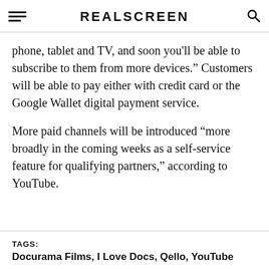REALSCREEN
phone, tablet and TV, and soon you'll be able to subscribe to them from more devices.” Customers will be able to pay either with credit card or the Google Wallet digital payment service.
More paid channels will be introduced “more broadly in the coming weeks as a self-service feature for qualifying partners,” according to YouTube.
TAGS: Docurama Films, I Love Docs, Qello, YouTube